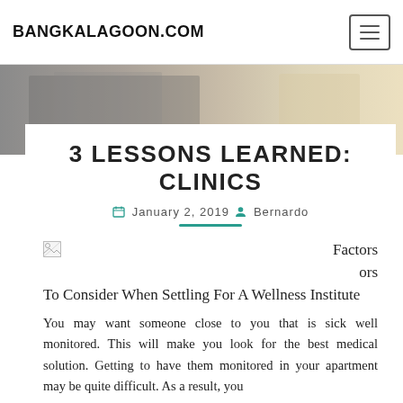BANGKALAGOON.COM
[Figure (photo): Blurred hero image with warm light tones]
3 LESSONS LEARNED: CLINICS
January 2, 2019  Bernardo
Factors To Consider When Settling For A Wellness Institute
You may want someone close to you that is sick well monitored. This will make you look for the best medical solution. Getting to have them monitored in your apartment may be quite difficult. As a result, you